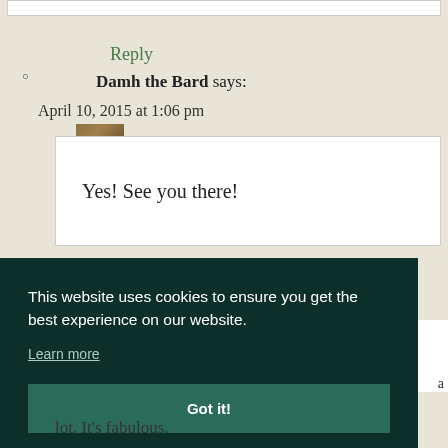Reply
Damh the Bard says: April 10, 2015 at 1:06 pm
Yes! See you there!
Reply
This website uses cookies to ensure you get the best experience on our website.
Learn more
Got it!
lot. It's fabulous.